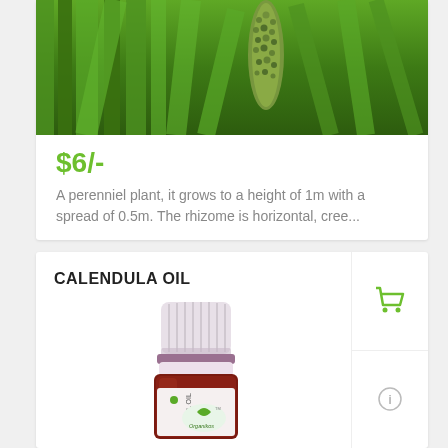[Figure (photo): Close-up photo of a green plant with a seed head/spike, surrounded by tall green grass-like leaves]
$6/-
A perenniel plant, it grows to a height of 1m with a spread of 0.5m. The rhizome is horizontal, cree...
CALENDULA OIL
[Figure (photo): Photo of a small dark amber/brown glass dropper bottle of Calendula Oil with a white ribbed cap, labeled with Organikos brand logo]
[Figure (other): Green shopping cart icon button]
[Figure (other): Information icon button]